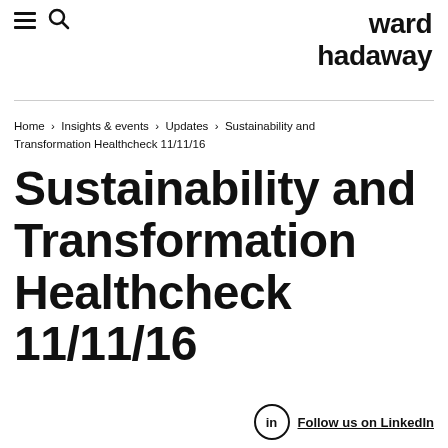ward hadaway
Home › Insights & events › Updates › Sustainability and Transformation Healthcheck 11/11/16
Sustainability and Transformation Healthcheck 11/11/16
Follow us on LinkedIn